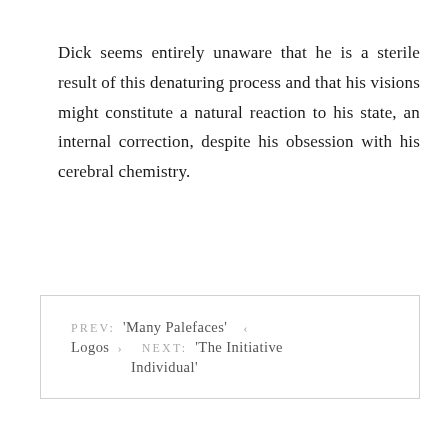Dick seems entirely unaware that he is a sterile result of this denaturing process and that his visions might constitute a natural reaction to his state, an internal correction, despite his obsession with his cerebral chemistry.
PREV: 'Many Palefaces' ‹ Logos › NEXT: 'The Initiative Individual'